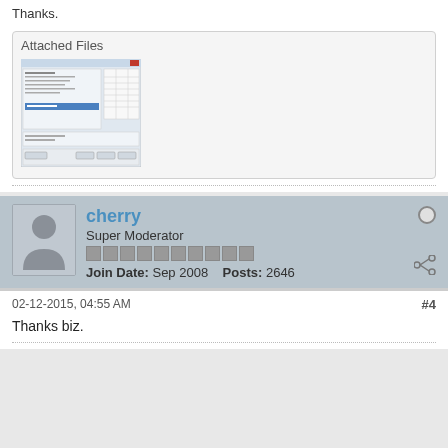Thanks.
[Figure (screenshot): Screenshot of a software dialog/settings window with form fields and a table preview]
cherry
Super Moderator
Join Date: Sep 2008   Posts: 2646
02-12-2015, 04:55 AM
#4
Thanks biz.